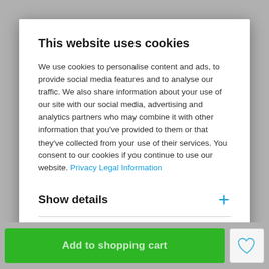This website uses cookies
We use cookies to personalise content and ads, to provide social media features and to analyse our traffic. We also share information about your use of our site with our social media, advertising and analytics partners who may combine it with other information that you've provided to them or that they've collected from your use of their services. You consent to our cookies if you continue to use our website. Privacy Legal Information
Show details
Allow all cookies
Add to shopping cart